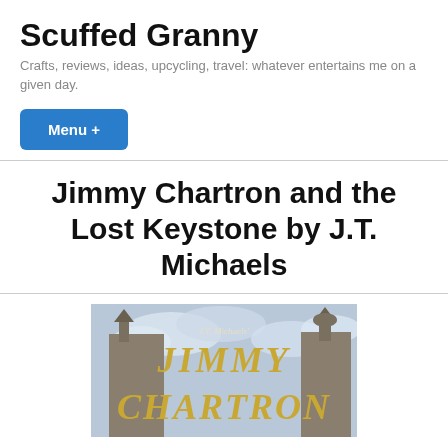Scuffed Granny
Crafts, reviews, ideas, upcycling, travel: whatever entertains me on a given day.
Menu +
Jimmy Chartron and the Lost Keystone by J.T. Michaels
[Figure (illustration): Book cover for Jimmy Chartron and the Lost Keystone by J.T. Michaels, showing the title text in stylized gold lettering with a cloudy sky and architectural towers/spires in the background.]